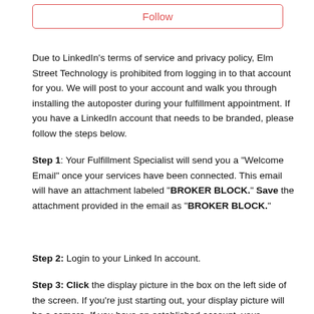[Figure (other): A button labeled 'Follow' with a red/coral border and red text]
Due to LinkedIn's terms of service and privacy policy, Elm Street Technology is prohibited from logging in to that account for you. We will post to your account and walk you through installing the autoposter during your fulfillment appointment. If you have a LinkedIn account that needs to be branded, please follow the steps below.
Step 1: Your Fulfillment Specialist will send you a "Welcome Email" once your services have been connected. This email will have an attachment labeled "BROKER BLOCK." Save the attachment provided in the email as "BROKER BLOCK."
Step 2: Login to your Linked In account.
Step 3: Click the display picture in the box on the left side of the screen. If you're just starting out, your display picture will be a camera. If you have an established account, your